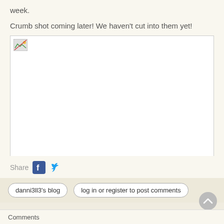week.
Crumb shot coming later! We haven't cut into them yet!
[Figure (photo): Broken/missing image placeholder — white box with broken image icon in top-left corner]
Share
danni3ll3's blog   log in or register to post comments
Comments